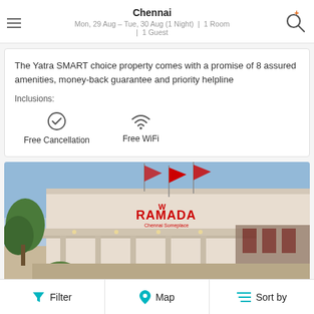Chennai
Mon, 29 Aug – Tue, 30 Aug (1 Night) | 1 Room | 1 Guest
The Yatra SMART choice property comes with a promise of 8 assured amenities, money-back guarantee and priority helpline
Inclusions:
Free Cancellation
Free WiFi
[Figure (photo): Exterior photo of Ramada hotel with red flags and covered driveway]
Filter | Map | Sort by